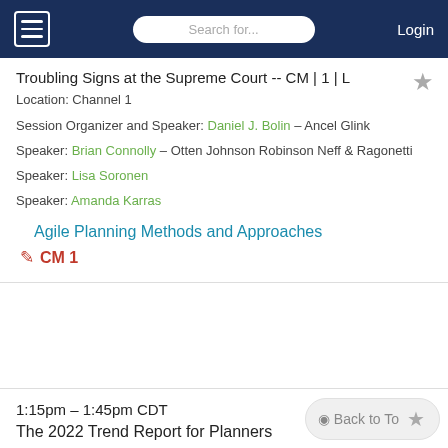Search for... Login
Troubling Signs at the Supreme Court -- CM | 1 | L
Location: Channel 1
Session Organizer and Speaker: Daniel J. Bolin – Ancel Glink
Speaker: Brian Connolly – Otten Johnson Robinson Neff & Ragonetti
Speaker: Lisa Soronen
Speaker: Amanda Karras
Agile Planning Methods and Approaches
CM 1
1:15pm – 1:45pm CDT
The 2022 Trend Report for Planners
Location: Zoom Link
Lead Presenter: Petra Hurtado – American Planning Association
Presenter: Joseph DeAngelis, AICP – American Planning